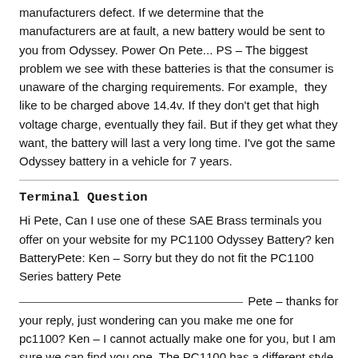manufacturers defect. If we determine that the manufacturers are at fault, a new battery would be sent to you from Odyssey. Power On Pete... PS – The biggest problem we see with these batteries is that the consumer is unaware of the charging requirements. For example, they like to be charged above 14.4v. If they don't get that high voltage charge, eventually they fail. But if they get what they want, the battery will last a very long time. I've got the same Odyssey battery in a vehicle for 7 years.
Terminal Question
Hi Pete, Can I use one of these SAE Brass terminals you offer on your website for my PC1100 Odyssey Battery? ken BatteryPete: Ken – Sorry but they do not fit the PC1100 Series battery Pete
_______________________________________ Pete – thanks for your reply, just wondering can you make me one for pc1100? Ken – I cannot actually make one for you, but I am sure we can find you one. The PC1100 has a different style terminal connection. It is a threaded stainless steel stud